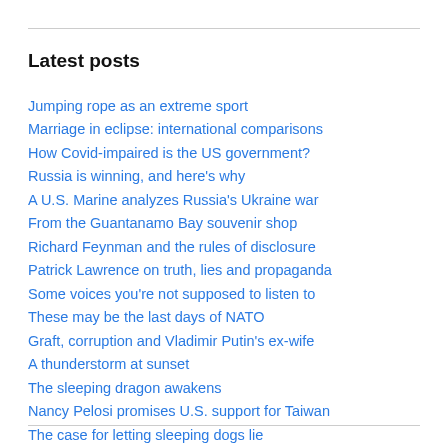Latest posts
Jumping rope as an extreme sport
Marriage in eclipse: international comparisons
How Covid-impaired is the US government?
Russia is winning, and here's why
A U.S. Marine analyzes Russia's Ukraine war
From the Guantanamo Bay souvenir shop
Richard Feynman and the rules of disclosure
Patrick Lawrence on truth, lies and propaganda
Some voices you're not supposed to listen to
These may be the last days of NATO
Graft, corruption and Vladimir Putin's ex-wife
A thunderstorm at sunset
The sleeping dragon awakens
Nancy Pelosi promises U.S. support for Taiwan
The case for letting sleeping dogs lie